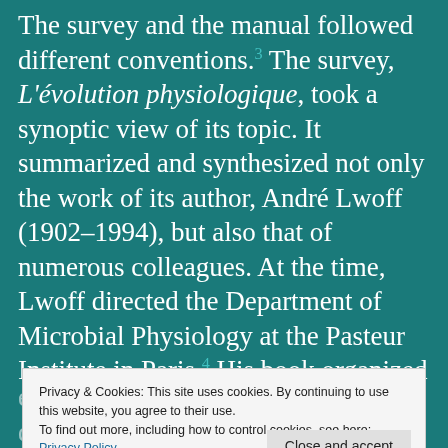The survey and the manual followed different conventions.³ The survey, L'évolution physiologique, took a synoptic view of its topic. It summarized and synthesized not only the work of its author, André Lwoff (1902–1994), but also that of numerous colleagues. At the time, Lwoff directed the Department of Microbial Physiology at the Pasteur Institute in Paris.⁴ His book organized the heterogeneous mass of data on
Privacy & Cookies: This site uses cookies. By continuing to use this website, you agree to their use.
To find out more, including how to control cookies, see here:
Privacy Policy
Close and accept
evolution. There thus, as he argued, driving this argument all about their inability t